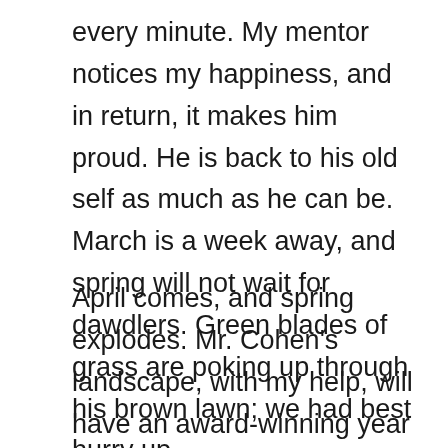every minute. My mentor notices my happiness, and in return, it makes him proud. He is back to his old self as much as he can be. March is a week away, and spring will not wait for dawdlers. Green blades of grass are poking up through his brown lawn; we had best hurry up.
April comes, and spring explodes. Mr. Cohen's landscape, with my help, will have an award-winning year if he chooses to seek recognition from the Botanical Society of Fort Worth; but, he is a shy man and